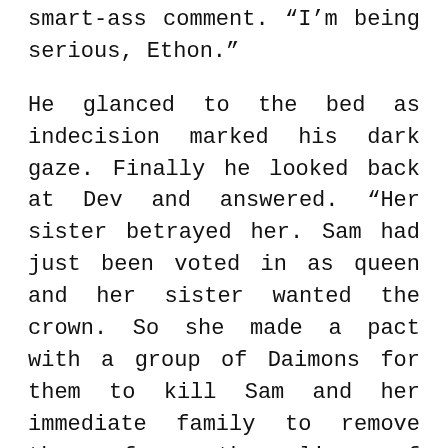Dev let out an irritated breath at his smart-ass comment. “I’m being serious, Ethon.”
He glanced to the bed as indecision marked his dark gaze. Finally he looked back at Dev and answered. “Her sister betrayed her. Sam had just been voted in as queen and her sister wanted the crown. So she made a pact with a group of Daimons for them to kill Sam and her immediate family to remove them from the line of succession.”